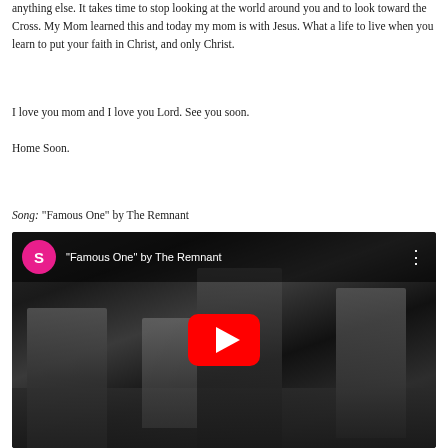anything else. It takes time to stop looking at the world around you and to look toward the Cross. My Mom learned this and today my mom is with Jesus. What a life to live when you learn to put your faith in Christ, and only Christ.
I love you mom and I love you Lord. See you soon.
Home Soon.
Song: “Famous One” by The Remnant
[Figure (screenshot): YouTube video embed showing 'Famous One' by The Remnant. Black and white photo of four young men standing outdoors on rocky/grassy terrain. Top bar shows a pink avatar with 'S', the video title, and a three-dot menu. A large red YouTube play button is centered on the image.]